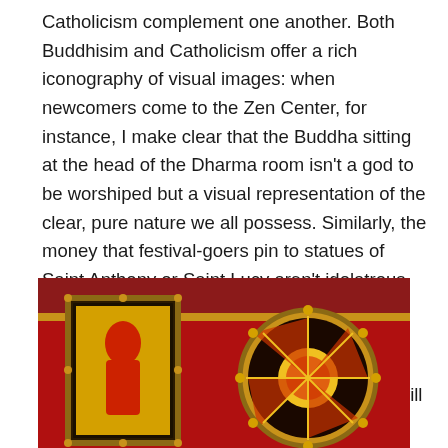Catholicism complement one another. Both Buddhisim and Catholicism offer a rich iconography of visual images: when newcomers come to the Zen Center, for instance, I make clear that the Buddha sitting at the head of the Dharma room isn't a god to be worshiped but a visual representation of the clear, pure nature we all possess. Similarly, the money that festival-goers pin to statues of Saint Anthony or Saint Lucy aren't idolatrous bribes: they're expressions of gratitude and hope. A Catholic festival like Saint Anthony's Feast suggests that if we make a point to be generous with saints, perhaps those saints will in turn be generous with blessings.
[Figure (photo): Interior of a religious building or shrine with red walls, ornate gold framing, decorative lights, and stained glass or painted panels showing a red silhouette figure on a yellow/golden background with radiating sun-like patterns.]